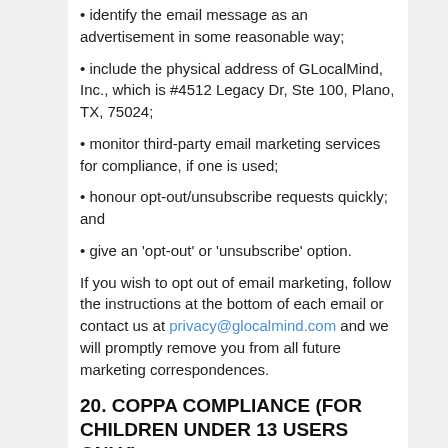• identify the email message as an advertisement in some reasonable way;
• include the physical address of GLocalMind, Inc., which is #4512 Legacy Dr, Ste 100, Plano, TX, 75024;
• monitor third-party email marketing services for compliance, if one is used;
• honour opt-out/unsubscribe requests quickly; and
• give an 'opt-out' or 'unsubscribe' option.
If you wish to opt out of email marketing, follow the instructions at the bottom of each email or contact us at privacy@glocalmind.com and we will promptly remove you from all future marketing correspondences.
20. COPPA COMPLIANCE (FOR CHILDREN UNDER 13 USERS ONLY)
The Children's Online Privacy Protection Act ('COPPA') is a federal legislation that applies to entities that collect and store 'Personal Information,'